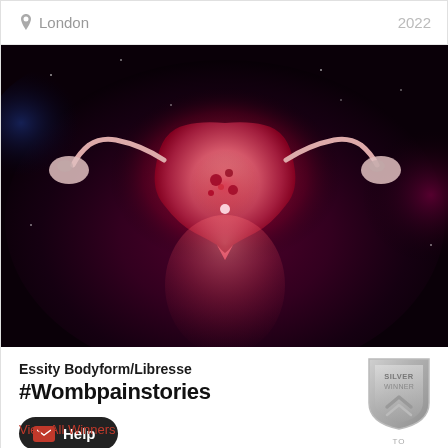London  2022
[Figure (illustration): Digital illustration of a glowing anatomical uterus against a dark cosmic purple-black background with pink and red nebula-like lighting effects.]
Essity Bodyform/Libresse
#Wombpainstories
[Figure (infographic): Silver Winner award badge/shield icon with upward chevron arrow]
Help
View All Winners